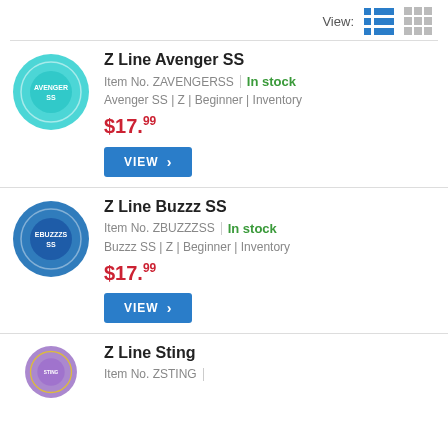View:
Z Line Avenger SS | Item No. ZAVENGERSS | In stock | Avenger SS | Z | Beginner | Inventory | $17.99
Z Line Buzzz SS | Item No. ZBUZZZSS | In stock | Buzzz SS | Z | Beginner | Inventory | $17.99
Z Line Sting